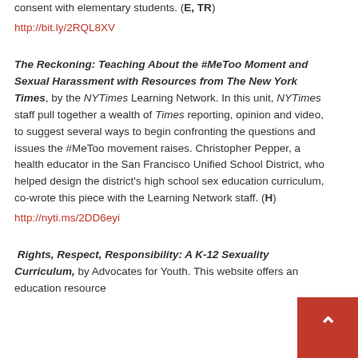consent with elementary students. (E, TR)
http://bit.ly/2RQL8XV
The Reckoning: Teaching About the #MeToo Moment and Sexual Harassment with Resources from The New York Times, by the NYTimes Learning Network. In this unit, NYTimes staff pull together a wealth of Times reporting, opinion and video, to suggest several ways to begin confronting the questions and issues the #MeToo movement raises. Christopher Pepper, a health educator in the San Francisco Unified School District, who helped design the district's high school sex education curriculum, co-wrote this piece with the Learning Network staff. (H)
http://nyti.ms/2DD6eyi
Rights, Respect, Responsibility: A K-12 Sexuality Curriculum, by Advocates for Youth. This website offers an education resource